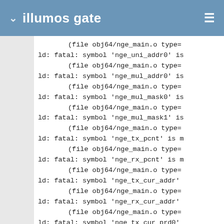illumos gate
(file obj64/nge_main.o type=
ld: fatal: symbol 'nge_uni_addr0' is
(file obj64/nge_main.o type=
ld: fatal: symbol 'nge_mul_addr0' is
(file obj64/nge_main.o type=
ld: fatal: symbol 'nge_mul_mask0' is
(file obj64/nge_main.o type=
ld: fatal: symbol 'nge_mul_mask1' is
(file obj64/nge_main.o type=
ld: fatal: symbol 'nge_tx_pcnt' is m
(file obj64/nge_main.o type=
ld: fatal: symbol 'nge_rx_pcnt' is m
(file obj64/nge_main.o type=
ld: fatal: symbol 'nge_tx_cur_addr'
(file obj64/nge_main.o type=
ld: fatal: symbol 'nge_rx_cur_addr'
(file obj64/nge_main.o type=
ld: fatal: symbol 'nge_tx_cur_prd0'